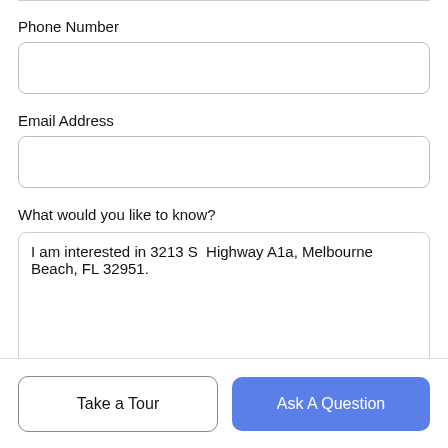Phone Number
[Figure (other): Empty input field for Phone Number]
Email Address
[Figure (other): Empty input field for Email Address]
What would you like to know?
[Figure (other): Textarea with text: I am interested in 3213 S  Highway A1a, Melbourne Beach, FL 32951.]
[Figure (other): Two buttons: 'Take a Tour' (outlined) and 'Ask A Question' (blue filled)]